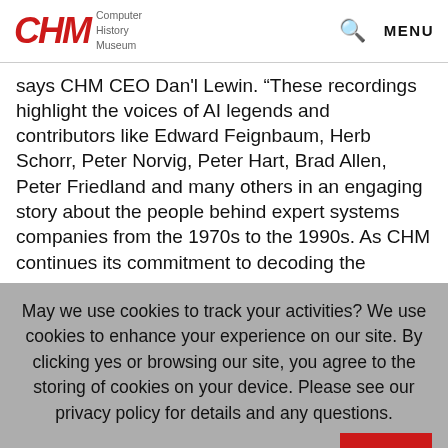CHM Computer History Museum
says CHM CEO Dan'l Lewin. “These recordings highlight the voices of AI legends and contributors like Edward Feignbaum, Herb Schorr, Peter Norvig, Peter Hart, Brad Allen, Peter Friedland and many others in an engaging story about the people behind expert systems companies from the 1970s to the 1990s. As CHM continues its commitment to decoding the
May we use cookies to track your activities? We use cookies to enhance your experience on our site. By clicking yes or browsing our site, you agree to the storing of cookies on your device. Please see our privacy policy for details and any questions.
YES
NO